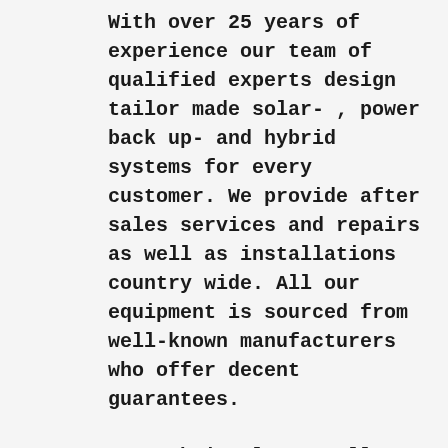With over 25 years of experience our team of qualified experts design tailor made solar- , power back up- and hybrid systems for every customer. We provide after sales services and repairs as well as installations country wide. All our equipment is sourced from well-known manufacturers who offer decent guarantees.
Suntech is always well stocked and almost always able to immediately supply you with the right equipment for your energy needs.